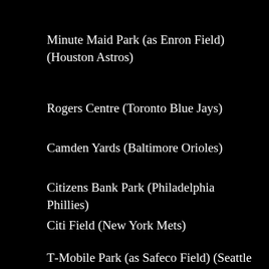Minute Maid Park (as Enron Field) (Houston Astros)
Rogers Centre (Toronto Blue Jays)
Camden Yards (Baltimore Orioles)
Citizens Bank Park (Philadelphia Phillies)
Citi Field (New York Mets)
T-Mobile Park (as Safeco Field) (Seattle Mariners)
RingCentral Coliseum (as O.co Coliseum)